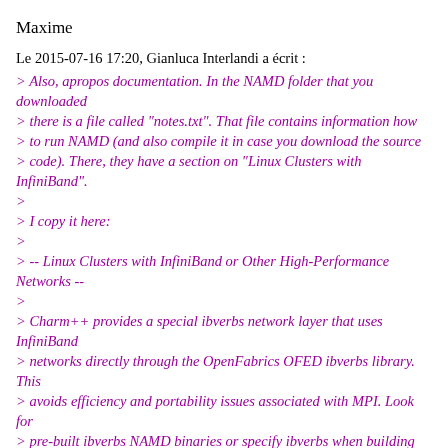Maxime
Le 2015-07-16 17:20, Gianluca Interlandi a écrit :
> Also, apropos documentation. In the NAMD folder that you downloaded
> there is a file called "notes.txt". That file contains information how
> to run NAMD (and also compile it in case you download the source
> code). There, they have a section on "Linux Clusters with InfiniBand".
>
> I copy it here:
>
> -- Linux Clusters with InfiniBand or Other High-Performance Networks --
>
> Charm++ provides a special ibverbs network layer that uses InfiniBand
> networks directly through the OpenFabrics OFED ibverbs library. This
> avoids efficiency and portability issues associated with MPI. Look for
> pre-built ibverbs NAMD binaries or specify ibverbs when building Charm++.